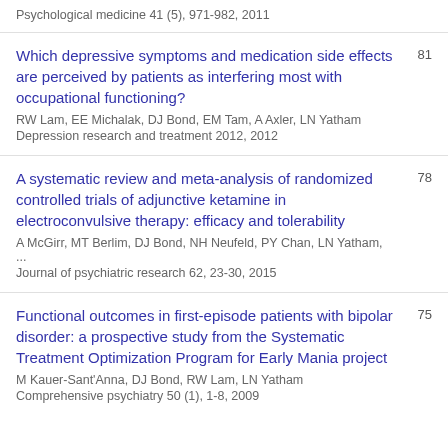Psychological medicine 41 (5), 971-982, 2011
Which depressive symptoms and medication side effects are perceived by patients as interfering most with occupational functioning?
RW Lam, EE Michalak, DJ Bond, EM Tam, A Axler, LN Yatham
Depression research and treatment 2012, 2012
81
A systematic review and meta-analysis of randomized controlled trials of adjunctive ketamine in electroconvulsive therapy: efficacy and tolerability
A McGirr, MT Berlim, DJ Bond, NH Neufeld, PY Chan, LN Yatham, ...
Journal of psychiatric research 62, 23-30, 2015
78
Functional outcomes in first-episode patients with bipolar disorder: a prospective study from the Systematic Treatment Optimization Program for Early Mania project
M Kauer-Sant'Anna, DJ Bond, RW Lam, LN Yatham
Comprehensive psychiatry 50 (1), 1-8, 2009
75